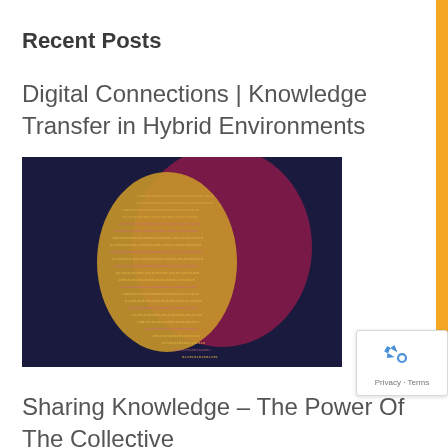Recent Posts
Digital Connections | Knowledge Transfer in Hybrid Environments
[Figure (illustration): Dark blue background image with a human profile silhouette made of binary code (0s and 1s) in yellow/gold and red/pink colors, representing digital knowledge or AI concept.]
Sharing Knowledge – The Power Of The Collective
[Figure (photo): Partially visible image at bottom of page with dark blue and red tones, related to knowledge sharing post.]
Privacy · Terms